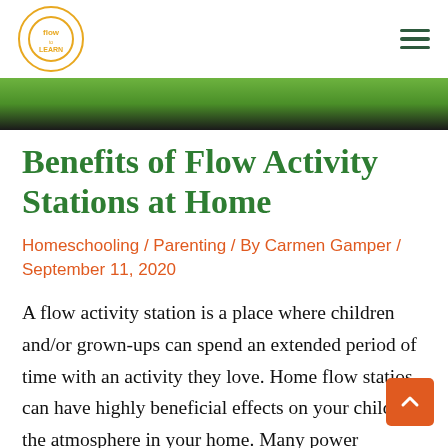flow to LEARN logo and hamburger menu
[Figure (photo): Cropped outdoor photo showing green background with dark figure at bottom, partially visible]
Benefits of Flow Activity Stations at Home
Homeschooling / Parenting / By Carmen Gamper / September 11, 2020
A flow activity station is a place where children and/or grown-ups can spend an extended period of time with an activity they love. Home flow statios can have highly beneficial effects on your child and the atmosphere in your home. Many power